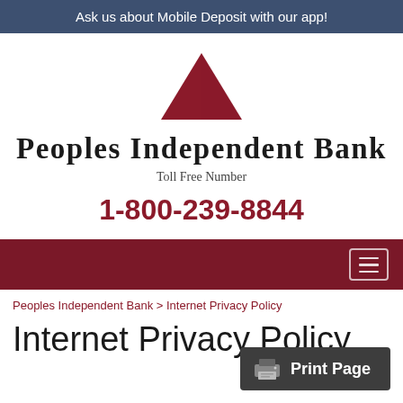Ask us about Mobile Deposit with our app!
[Figure (logo): Peoples Independent Bank logo: a red/dark-red triangular mountain shape with diagonal lines]
Peoples Independent Bank
Toll Free Number
1-800-239-8844
[Figure (other): Dark red navigation bar with hamburger menu button on the right]
Peoples Independent Bank > Internet Privacy Policy
Internet Privacy Policy
Print Page